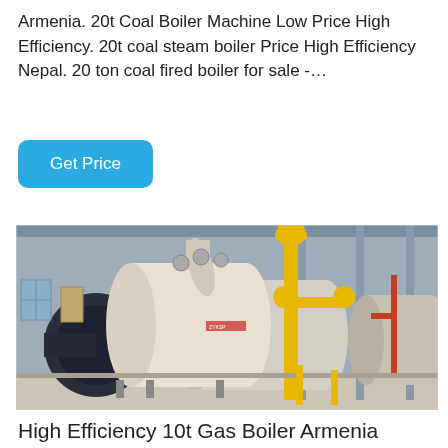Armenia. 20t Coal Boiler Machine Low Price High Efficiency. 20t coal steam boiler Price High Efficiency Nepal. 20 ton coal fired boiler for sale -…
[Figure (photo): Industrial boiler equipment in a factory setting showing large cylindrical boilers with yellow gas pipes and various mechanical components]
High Efficiency 10t Gas Boiler Armenia